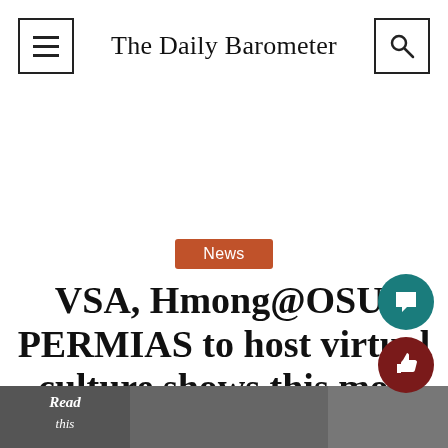The Daily Barometer
VSA, Hmong@OSU, PERMIAS to host virtual culture shows this month
News
[Figure (photo): Thumbnail strip at bottom with three photo panels and a 'Read this' label overlay on the left panel]